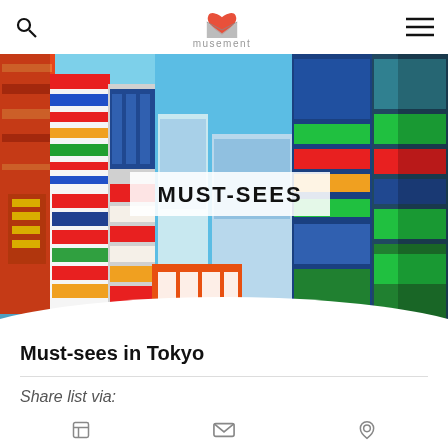musement
[Figure (photo): Colorful street scene of Tokyo with bright Japanese signage and buildings under a blue sky, with a white banner overlay reading MUST-SEES in large bold black text]
Must-sees in Tokyo
Share list via: